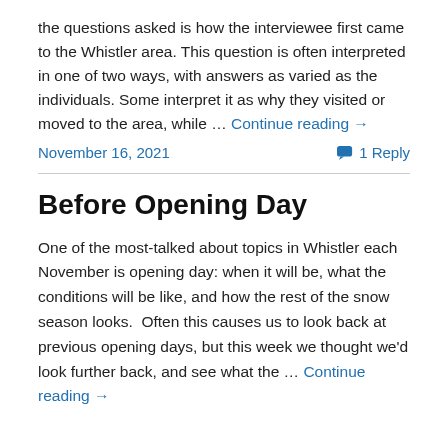the questions asked is how the interviewee first came to the Whistler area. This question is often interpreted in one of two ways, with answers as varied as the individuals. Some interpret it as why they visited or moved to the area, while … Continue reading →
November 16, 2021
1 Reply
Before Opening Day
One of the most-talked about topics in Whistler each November is opening day: when it will be, what the conditions will be like, and how the rest of the snow season looks.  Often this causes us to look back at previous opening days, but this week we thought we'd look further back, and see what the … Continue reading →